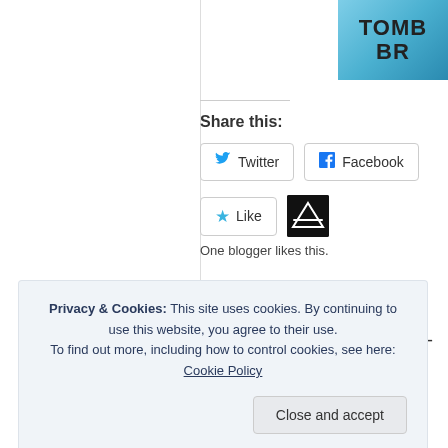[Figure (screenshot): Partial thumbnail image in top-right corner with text 'TOMB BR' visible on a blue/teal gradient background]
Share this:
Twitter
Facebook
Like
One blogger likes this.
Top Ten Worst TV Show Endings/Series Finales Ever #9 – Dexter (2006-2013)
January 7, 2017
In "TV"
Privacy & Cookies: This site uses cookies. By continuing to use this website, you agree to their use.
To find out more, including how to control cookies, see here: Cookie Policy
Close and accept